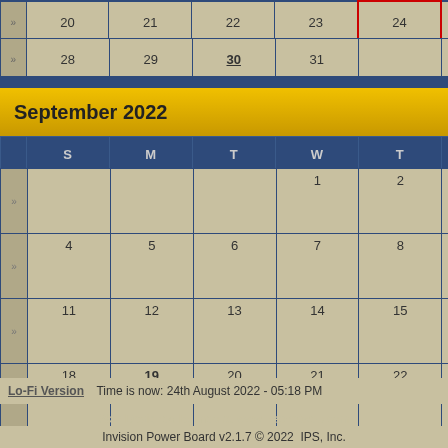|  | S | M | T | W | T | F | S |
| --- | --- | --- | --- | --- | --- | --- | --- |
| » | 20 | 21 | 22 | 23 | 24 | 25 | 26 | 27 |
| » | 28 | 29 | 30 | 31 |  |  |  |
September 2022 →
|  | S | M | T | W | T | F | S |
| --- | --- | --- | --- | --- | --- | --- | --- |
| » |  |  |  | 1 | 2 | 3 |
| » | 4 | 5 | 6 | 7 | 8 | 9 | 10 |
| » | 11 | 12 | 13 | 14 | 15 | 16 | 17 |
| » | 18 | 19 | 20 | 21 | 22 | 23 | 24 |
| » | 25 | 26 | 27 | 28 | 29 | 30 |  |
|  | 28 | 29 | 30 |
| --- | --- | --- | --- |
| » |  |  | BioTeach's Birthday |
Calendar Navigation
· View Current Month
· View Current Week
Aug
Commu
Lo-Fi Version   Time is now: 24th August 2022 - 05:18 PM
Skin Designed By: neo at www.neohetweb.com
Invision Power Board v2.1.7 © 2022  IPS, Inc.